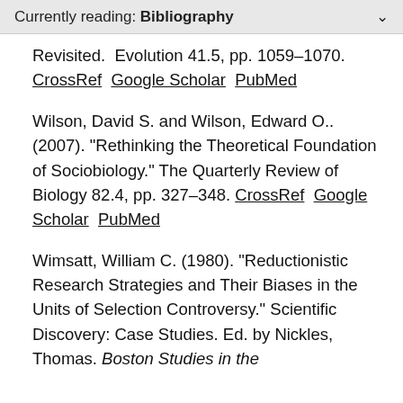Currently reading: Bibliography
Revisited. Evolution 41.5, pp. 1059–1070. CrossRef  Google Scholar  PubMed
Wilson, David S. and Wilson, Edward O.. (2007). "Rethinking the Theoretical Foundation of Sociobiology." The Quarterly Review of Biology 82.4, pp. 327–348. CrossRef  Google Scholar  PubMed
Wimsatt, William C. (1980). "Reductionistic Research Strategies and Their Biases in the Units of Selection Controversy." Scientific Discovery: Case Studies. Ed. by Nickles, Thomas. Boston Studies in the…